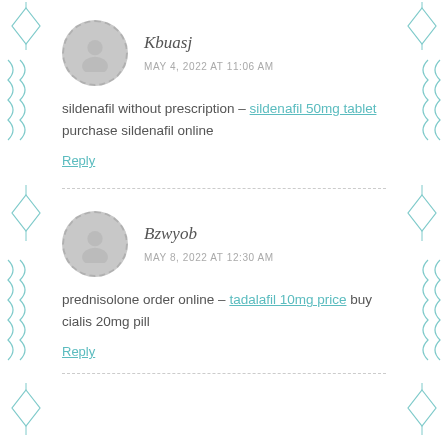Kbuasj — MAY 4, 2022 AT 11:06 AM — sildenafil without prescription – sildenafil 50mg tablet purchase sildenafil online — Reply
Bzwyob — MAY 8, 2022 AT 12:30 AM — prednisolone order online – tadalafil 10mg price buy cialis 20mg pill — Reply